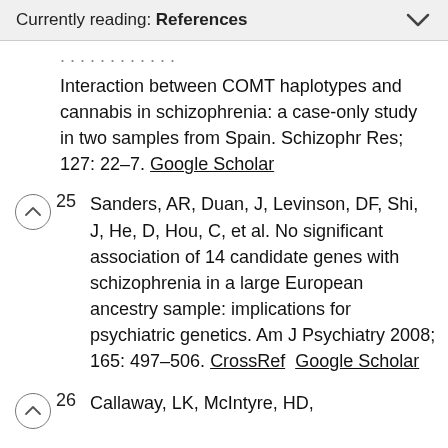Currently reading: References
Interaction between COMT haplotypes and cannabis in schizophrenia: a case-only study in two samples from Spain. Schizophr Res; 127: 22–7. Google Scholar
25  Sanders, AR, Duan, J, Levinson, DF, Shi, J, He, D, Hou, C, et al. No significant association of 14 candidate genes with schizophrenia in a large European ancestry sample: implications for psychiatric genetics. Am J Psychiatry 2008; 165: 497–506. CrossRef  Google Scholar
26  Callaway, LK, McIntyre, HD,